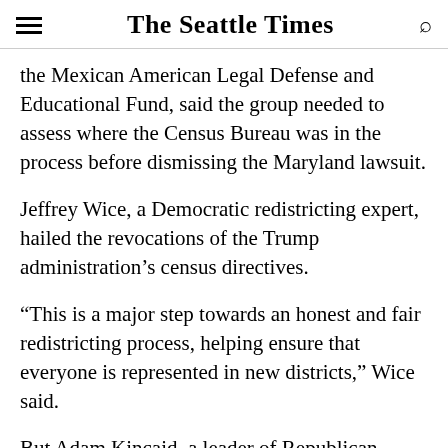The Seattle Times
the Mexican American Legal Defense and Educational Fund, said the group needed to assess where the Census Bureau was in the process before dismissing the Maryland lawsuit.
Jeffrey Wice, a Democratic redistricting expert, hailed the revocations of the Trump administration’s census directives.
“This is a major step towards an honest and fair redistricting process, helping ensure that everyone is represented in new districts,” Wice said.
But Adam Kincaid, a leader of Republican redistricting efforts, said in a statement that the Biden administration was merely “concealing critical information” about the citizen population in